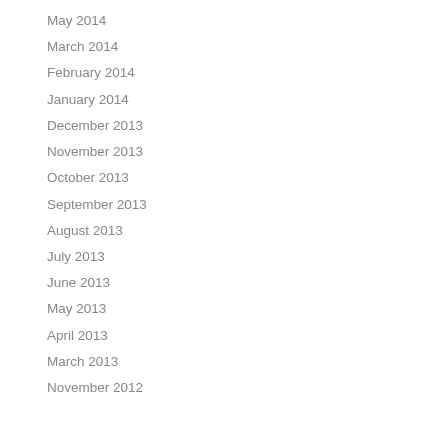May 2014
March 2014
February 2014
January 2014
December 2013
November 2013
October 2013
September 2013
August 2013
July 2013
June 2013
May 2013
April 2013
March 2013
November 2012